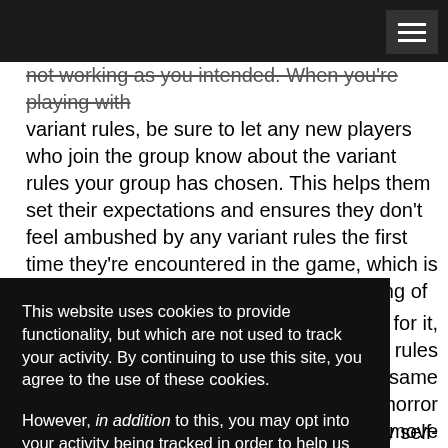not working as you intended. When you're playing with variant rules, be sure to let any new players who join the group know about the variant rules your group has chosen. This helps them set their expectations and ensures they don't feel ambushed by any variant rules the first time they're encountered in the game, which is important for making sure there is a feeling of fairness among your players.
This website uses cookies to provide functionality, but which are not used to track your activity. By continuing to use this site, you agree to the use of these cookies.

However, in addition to this, you may opt into your activity being tracked in order to help us improve our service.

For more information, please click here
s that call for it, iant rules at the same survival-horror haracters, remove ter the level, and remove
ficiently self-